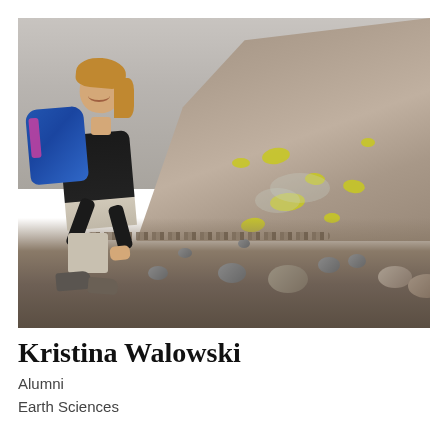[Figure (photo): A young woman with blonde hair wearing a black jacket and gray shorts, carrying a blue backpack, crouching and smiling on a rocky volcanic landscape with yellow sulfur deposits visible on the hillside in the background.]
Kristina Walowski
Alumni
Earth Sciences